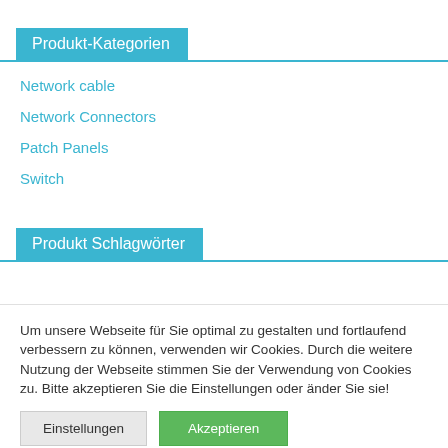Produkt-Kategorien
Network cable
Network Connectors
Patch Panels
Switch
Produkt Schlagwörter
Um unsere Webseite für Sie optimal zu gestalten und fortlaufend verbessern zu können, verwenden wir Cookies. Durch die weitere Nutzung der Webseite stimmen Sie der Verwendung von Cookies zu. Bitte akzeptieren Sie die Einstellungen oder änder Sie sie!
Einstellungen
Akzeptieren